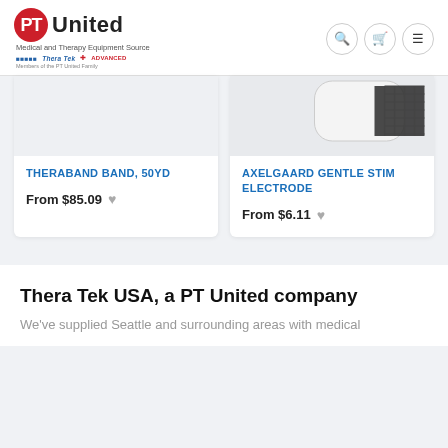[Figure (logo): PT United logo with red circle badge containing 'PT', 'United' text, tagline 'Medical and Therapy Equipment Source', sub-brand logos]
[Figure (screenshot): Product card: THERABAND BAND, 50YD - product image area (partially visible)]
THERABAND BAND, 50YD
From $85.09
[Figure (screenshot): Product card: AXELGAARD GENTLE STIM ELECTRODE - product image showing white and black electrode pad]
AXELGAARD GENTLE STIM ELECTRODE
From $6.11
Thera Tek USA, a PT United company
We've supplied Seattle and surrounding areas with medical